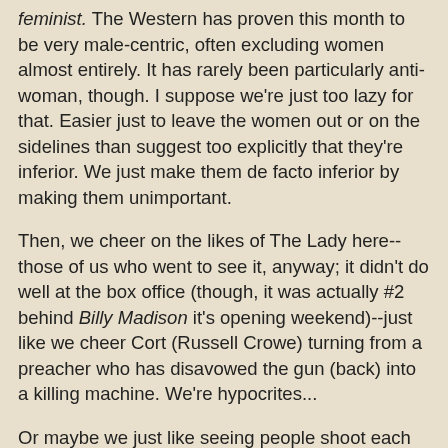feminist. The Western has proven this month to be very male-centric, often excluding women almost entirely. It has rarely been particularly anti-woman, though. I suppose we're just too lazy for that. Easier just to leave the women out or on the sidelines than suggest too explicitly that they're inferior. We just make them de facto inferior by making them unimportant.
Then, we cheer on the likes of The Lady here--those of us who went to see it, anyway; it didn't do well at the box office (though, it was actually #2 behind Billy Madison it's opening weekend)--just like we cheer Cort (Russell Crowe) turning from a preacher who has disavowed the gun (back) into a killing machine. We're hypocrites...
Or maybe we just like seeing people shoot each other, no matter who it is. Maybe that is why the Western has tended to be successful as a genre; more than a lot of other genres (or settings) it allows for a whole lot of guns and gunshots. We Americans do so love our guns. First Amendment gets us film, Second Amendment gives film something to titillate us. We might like the occasional drama, and plenty of stupid comedy (and on rare occasion intelligent comedy), but give